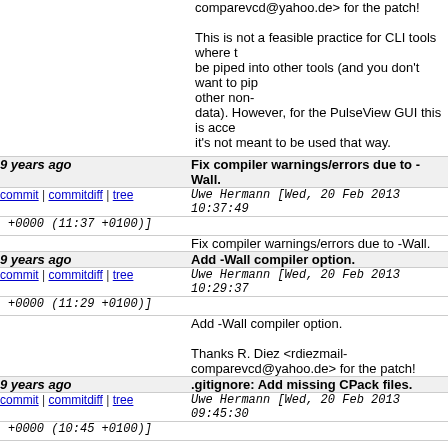comparevcd@yahoo.de> for the patch!

This is not a feasible practice for CLI tools where t... be piped into other tools (and you don't want to pip... other non-
data). However, for the PulseView GUI this is acce... it's not meant to be used that way.
Fix compiler warnings/errors due to -Wall.
9 years ago
commit | commitdiff | tree
Uwe Hermann [Wed, 20 Feb 2013 10:37:49 +0000 (11:37 +0100)]
Fix compiler warnings/errors due to -Wall.
Add -Wall compiler option.
9 years ago
commit | commitdiff | tree
Uwe Hermann [Wed, 20 Feb 2013 10:29:37 +0000 (11:29 +0100)]
Add -Wall compiler option.

Thanks R. Diez <rdiezmail-comparevcd@yahoo.de> for the patch!
.gitignore: Add missing CPack files.
9 years ago
commit | commitdiff | tree
Uwe Hermann [Wed, 20 Feb 2013 09:45:30 +0000 (10:45 +0100)]